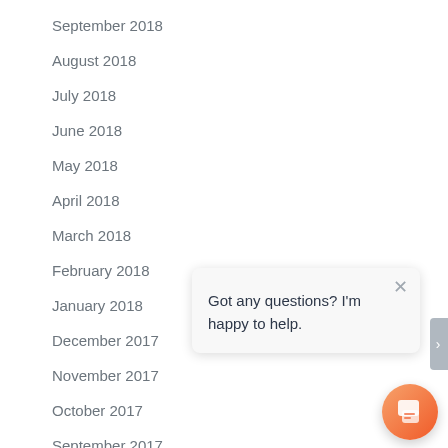September 2018
August 2018
July 2018
June 2018
May 2018
April 2018
March 2018
February 2018
January 2018
December 2017
November 2017
October 2017
September 2017
August 2017
July 2017
Got any questions? I'm happy to help.